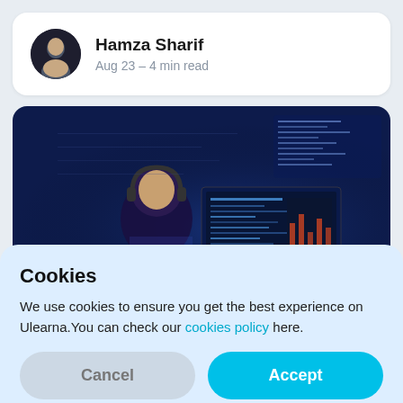Hamza Sharif
Aug 23 – 4 min read
[Figure (photo): Person sitting at a computer with multiple monitors displaying code/data in a dark blue-lit room]
Cookies
We use cookies to ensure you get the best experience on Ulearna.You can check our cookies policy here.
Cancel  Accept